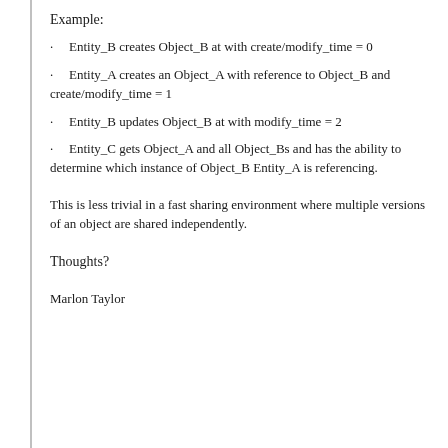Example:
Entity_B creates Object_B at with create/modify_time = 0
Entity_A creates an Object_A with reference to Object_B and create/modify_time = 1
Entity_B updates Object_B at with modify_time = 2
Entity_C gets Object_A and all Object_Bs and has the ability to determine which instance of Object_B Entity_A is referencing.
This is less trivial in a fast sharing environment where multiple versions of an object are shared independently.
Thoughts?
Marlon Taylor